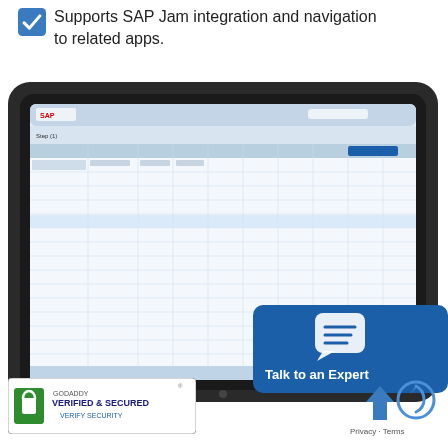Supports SAP Jam integration and navigation to related apps.
[Figure (screenshot): Tablet device displaying an SAP application interface with a data grid/table showing financial or project data with multiple columns and rows.]
[Figure (infographic): Blue rounded rectangle badge with chat icon and text 'Talk to an Expert']
[Figure (logo): GoDaddy Verified & Secured badge with lock icon and 'Verify Security' text]
[Figure (other): Blue upward arrow icon and Google reCAPTCHA logo with 'Privacy - Terms' text]